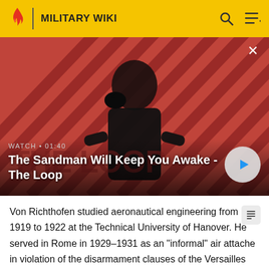MILITARY WIKI
[Figure (photo): Video thumbnail showing a dark-clad figure with a raven on shoulder against a red diagonal-striped background. Shows 'The Sandman Will Keep You Awake - The Loop' with WATCH 01:40 label and play button.]
WATCH • 01:40
The Sandman Will Keep You Awake - The Loop
Von Richthofen studied aeronautical engineering from 1919 to 1922 at the Technical University of Hanover. He served in Rome in 1929–1931 as an "informal" air attache in violation of the disarmament clauses of the Versailles Treaty.[11]